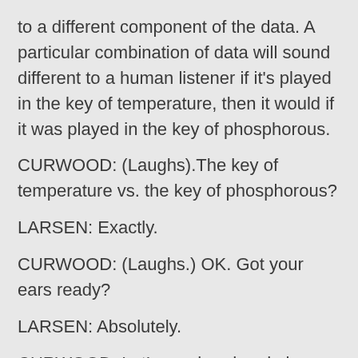to a different component of the data. A particular combination of data will sound different to a human listener if it's played in the key of temperature, then it would if it was played in the key of phosphorous.
CURWOOD: (Laughs).The key of temperature vs. the key of phosphorous?
LARSEN: Exactly.
CURWOOD: (Laughs.) OK. Got your ears ready?
LARSEN: Absolutely.
CURWOOD: Let's go ahead and play a few of these songs for you. First we have this microbial composition called bloom.
[MUSIC: Sounds Of The Sea : Pieces include “Bloom”, “Far & Wide”, “Blues For Elle” and “50 Degrees North”. From Microbial Bebop. Produced at the Argonne National